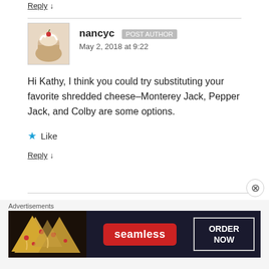Reply ↓
nancyc  POST AUTHOR
May 2, 2018 at 9:22
Hi Kathy, I think you could try substituting your favorite shredded cheese–Monterey Jack, Pepper Jack, and Colby are some options.
★ Like
Reply ↓
[Figure (screenshot): Seamless food delivery advertisement banner with pizza image on left, Seamless logo in red, and ORDER NOW button in outlined box on dark background]
Advertisements